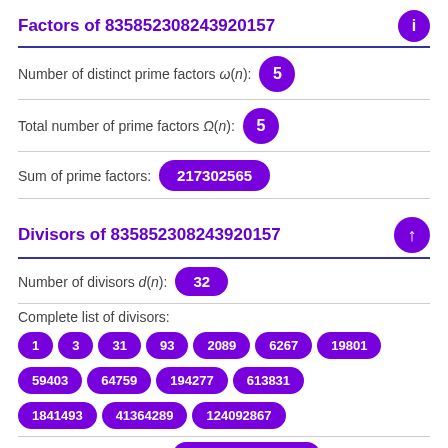Factors of 835852308243920157
Number of distinct prime factors ω(n): 5
Total number of prime factors Ω(n): 5
Sum of prime factors: 217302565
Divisors of 835852308243920157
Number of divisors d(n): 32
Complete list of divisors:
1
3
31
93
2089
6267
19801
59403
64759
194277
613831
1841493
41364289
124092867
Sum of all divisors σ(n): 1151029217321927680